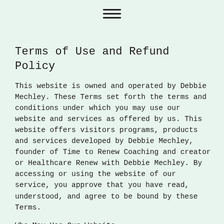[Figure (other): Hamburger menu icon (three horizontal lines)]
Terms of Use and Refund Policy
This website is owned and operated by Debbie Mechley. These Terms set forth the terms and conditions under which you may use our website and services as offered by us. This website offers visitors programs, products and services developed by Debbie Mechley, founder of Time to Renew Coaching and creator or Healthcare Renew with Debbie Mechley. By accessing or using the website of our service, you approve that you have read, understood, and agree to be bound by these Terms.
Who May Use Our Website
In order to use our website and/or receive our services, you must be at least 18 years of age, or of the legal age of majority in your jurisdiction, and possess the legal authority, right and